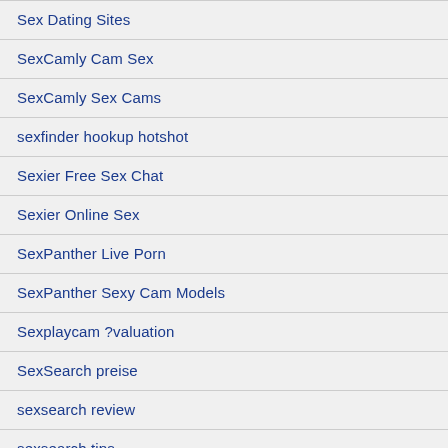Sex Dating Sites
SexCamly Cam Sex
SexCamly Sex Cams
sexfinder hookup hotshot
Sexier Free Sex Chat
Sexier Online Sex
SexPanther Live Porn
SexPanther Sexy Cam Models
Sexplaycam ?valuation
SexSearch preise
sexsearch review
sexsearch tips